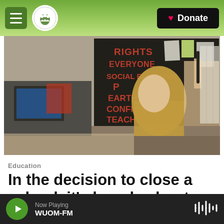Navigation bar with hamburger menu, Michigan Public logo, and Donate button
[Figure (photo): Classroom photo showing a bulletin board with RESPECT acronym: Rights, Everyone, Social Environment, sPeech, Confidence, Teachers — in red letters on black background. A blond student is visible in the foreground with arm raised.]
Education
In the decision to close a school, it's largely about money
Now Playing WUOM-FM